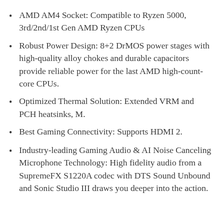AMD AM4 Socket: Compatible to Ryzen 5000, 3rd/2nd/1st Gen AMD Ryzen CPUs
Robust Power Design: 8+2 DrMOS power stages with high-quality alloy chokes and durable capacitors provide reliable power for the last AMD high-count-core CPUs.
Optimized Thermal Solution: Extended VRM and PCH heatsinks, M.
Best Gaming Connectivity: Supports HDMI 2.
Industry-leading Gaming Audio & AI Noise Canceling Microphone Technology: High fidelity audio from a SupremeFX S1220A codec with DTS Sound Unbound and Sonic Studio III draws you deeper into the action.